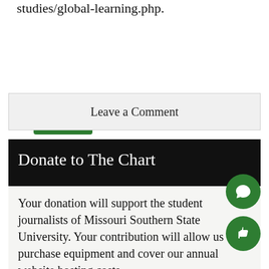studies/global-learning.php.
southern art
Leave a Comment
Donate to The Chart
Your donation will support the student journalists of Missouri Southern State University. Your contribution will allow us to purchase equipment and cover our annual website hosting costs.